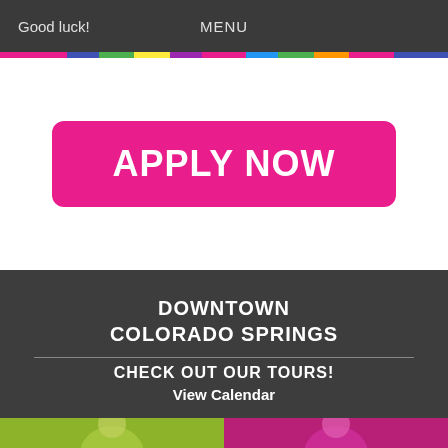Good luck!  MENU
APPLY NOW
DOWNTOWN COLORADO SPRINGS
CHECK OUT OUR TOURS!
View Calendar
[Figure (photo): Two side-by-side photos: left shows a person with green-yellow tint, right shows people with magenta/pink tint]